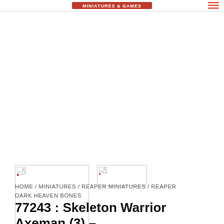Miniatures & Games logo / navigation header
[Figure (photo): Large product image placeholder (broken image) for Skeleton Warrior Axeman (3) - Reaper Bones]
[Figure (photo): Thumbnail image 1 (broken image) - product thumbnail]
[Figure (photo): Thumbnail image 2 (broken image) - product thumbnail]
HOME / MINIATURES / REAPER MINIATURES / REAPER DARK HEAVEN BONES
77243 : Skeleton Warrior Axeman (3) – Reaper Bones